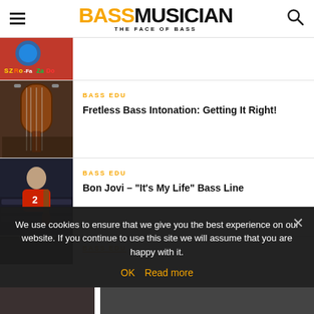BASS MUSICIAN - THE FACE OF BASS
[Figure (screenshot): Thumbnail image with red background and stylized cartoon graphic with text 'SZRo-FaZaDo']
[Figure (photo): Photo of a fretless bass guitar]
BASS EDU
Fretless Bass Intonation: Getting It Right!
[Figure (photo): Photo of a musician in an auditorium holding a bass guitar]
BASS EDU
Bon Jovi – "It's My Life" Bass Line
BASS EDU
We use cookies to ensure that we give you the best experience on our website. If you continue to use this site we will assume that you are happy with it.
OK   Read more